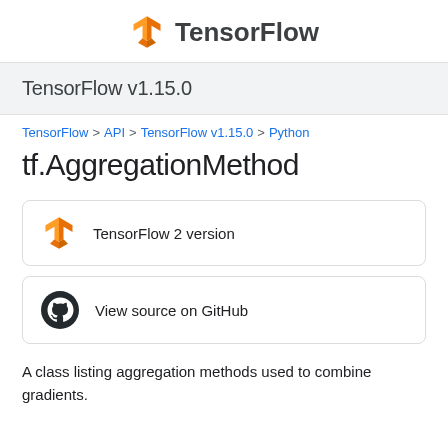TensorFlow
TensorFlow v1.15.0
TensorFlow > API > TensorFlow v1.15.0 > Python
tf.AggregationMethod
TensorFlow 2 version
View source on GitHub
A class listing aggregation methods used to combine gradients.